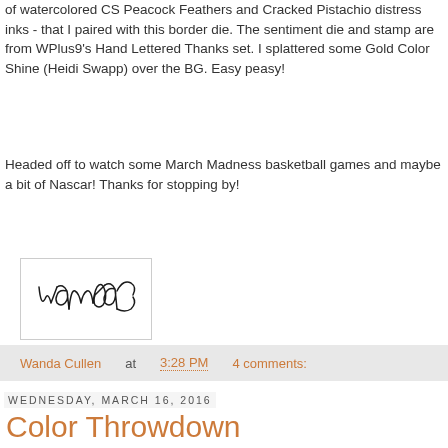of watercolored CS  Peacock Feathers and Cracked Pistachio distress inks - that I paired with this border die.  The sentiment die and stamp are from WPlus9's Hand Lettered Thanks set.  I splattered some Gold Color Shine (Heidi Swapp) over the BG.  Easy peasy!
Headed off to watch some March Madness basketball games and maybe a bit of Nascar!  Thanks for stopping by!
[Figure (illustration): Handwritten cursive signature reading 'Wanda' in black ink on white background, inside a light-bordered box]
Wanda Cullen at 3:28 PM   4 comments:
Wednesday, March 16, 2016
Color Throwdown